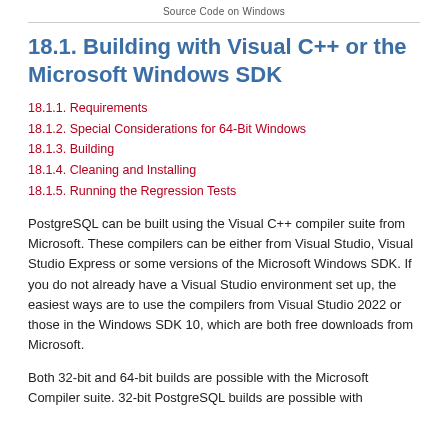Source Code on Windows
18.1. Building with Visual C++ or the Microsoft Windows SDK
18.1.1. Requirements
18.1.2. Special Considerations for 64-Bit Windows
18.1.3. Building
18.1.4. Cleaning and Installing
18.1.5. Running the Regression Tests
PostgreSQL can be built using the Visual C++ compiler suite from Microsoft. These compilers can be either from Visual Studio, Visual Studio Express or some versions of the Microsoft Windows SDK. If you do not already have a Visual Studio environment set up, the easiest ways are to use the compilers from Visual Studio 2022 or those in the Windows SDK 10, which are both free downloads from Microsoft.
Both 32-bit and 64-bit builds are possible with the Microsoft Compiler suite. 32-bit PostgreSQL builds are possible with